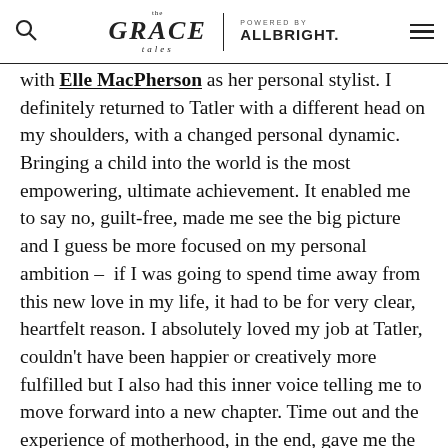the Grace Tales | POWERED BY ALLBRIGHT.
with Elle MacPherson as her personal stylist. I definitely returned to Tatler with a different head on my shoulders, with a changed personal dynamic. Bringing a child into the world is the most empowering, ultimate achievement. It enabled me to say no, guilt-free, made me see the big picture and I guess be more focused on my personal ambition – if I was going to spend time away from this new love in my life, it had to be for very clear, heartfelt reason. I absolutely loved my job at Tatler, couldn't have been happier or creatively more fulfilled but I also had this inner voice telling me to move forward into a new chapter. Time out and the experience of motherhood, in the end, gave me the confidence to go in alone.